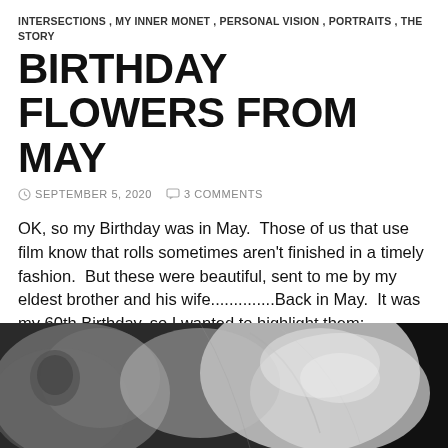INTERSECTIONS, MY INNER MONET, PERSONAL VISION, PORTRAITS, THE STORY
BIRTHDAY FLOWERS FROM MAY
SEPTEMBER 5, 2020   3 COMMENTS
OK, so my Birthday was in May.  Those of us that use film know that rolls sometimes aren't finished in a timely fashion.  But these were beautiful, sent to me by my eldest brother and his wife..............Back in May.  It was my 60th Birthday, so I wanted to highlight them:
[Figure (photo): Black and white close-up photograph of birthday flowers, showing petals and floral details.]